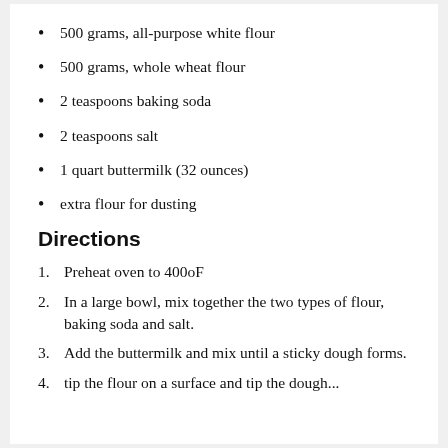500 grams, all-purpose white flour
500 grams, whole wheat flour
2 teaspoons baking soda
2 teaspoons salt
1 quart buttermilk (32 ounces)
extra flour for dusting
Directions
Preheat oven to 400oF
In a large bowl, mix together the two types of flour, baking soda and salt.
Add the buttermilk and mix until a sticky dough forms.
tip the flour on a surface and tip the dough...